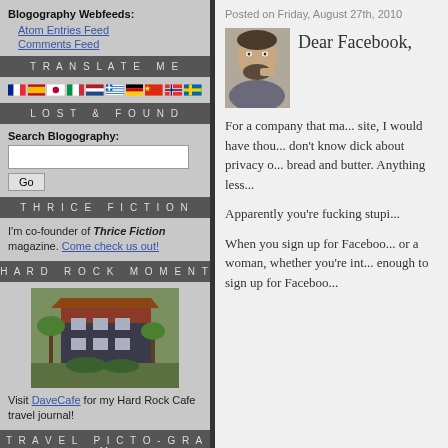Blogography Webfeeds:
Atom Entries Feed
Comments Feed
TRANSLATE ME
[Figure (infographic): Row of national flag icons: French, Spanish, Japanese, Italian, Dutch, Greek, German, Chinese, Norwegian, Swedish]
LOST & FOUND
Search Blogography:
THRICE FICTION
I'm co-founder of Thrice Fiction magazine. Come check us out!
HARD ROCK MOMENT
[Figure (photo): Photo of a Hard Rock Cafe building with palm trees and tropical foliage]
Visit DaveCafe for my Hard Rock Cafe travel journal!
TRAVEL PICTO-GRAM
Posted on Friday, August 27th, 2010
Dear Facebook,
[Figure (photo): Avatar photo of a man with a beard looking thoughtful]
For a company that ma... site, I would have thou... don't know dick about privacy o... bread and butter. Anything less...
Apparently you're fucking stupi...
When you sign up for Faceboo... or a woman, whether you're int... enough to sign up for Faceboo...